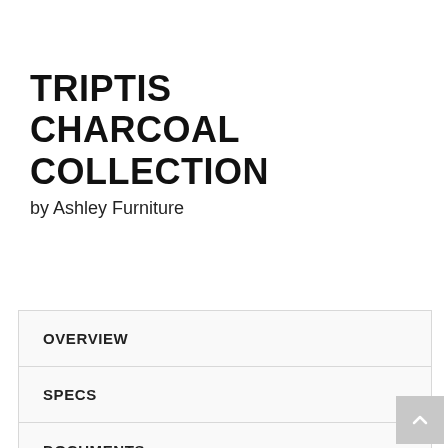TRIPTIS CHARCOAL COLLECTION
by Ashley Furniture
View All
OVERVIEW
SPECS
DOCUMENTS
DELIVERY